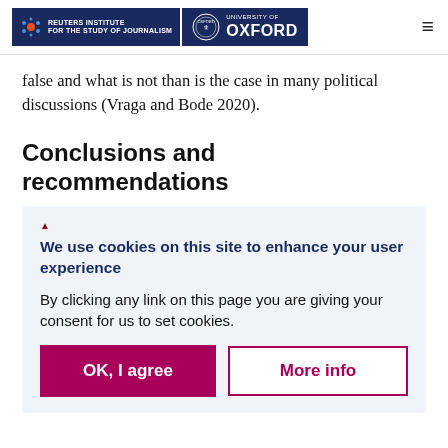Reuters Institute for the Study of Journalism | University of Oxford
false and what is not than is the case in many political discussions (Vraga and Bode 2020).
Conclusions and recommendations
We use cookies on this site to enhance your user experience
By clicking any link on this page you are giving your consent for us to set cookies.
OK, I agree
More info